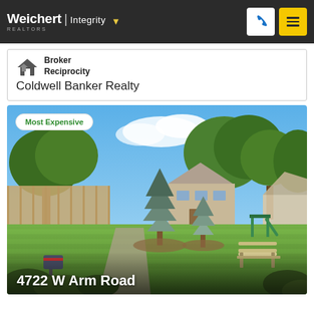[Figure (logo): Weichert Realtors Integrity logo with phone and menu buttons on dark header bar]
[Figure (logo): Broker Reciprocity logo icon with house symbol]
Coldwell Banker Realty
[Figure (photo): Outdoor photo of residential property at 4722 W Arm Road showing green lawn, evergreen and deciduous trees, a bench, mailbox, and playground equipment in background. Labeled 'Most Expensive'.]
4722 W Arm Road